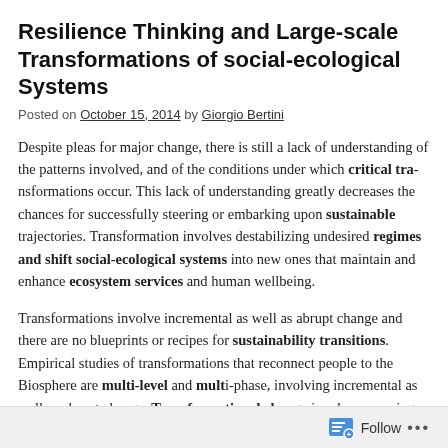Resilience Thinking and Large-scale Transformation of social-ecological Systems
Posted on October 15, 2014 by Giorgio Bertini
Despite pleas for major change, there is still a lack of understanding of the patterns involved, and of the conditions under which critical transformations occur. This lack of understanding greatly decreases the chances for successfully steering or embarking upon sustainable trajectories. Transformation involves destabilizing undesired regimes and shift social-ecological systems into new ones that maintain and enhance ecosystem services and human wellbeing.
Transformations involve incremental as well as abrupt change and there are no blueprints or recipes for sustainability transitions. Empirical studies of transformations that reconnect people to the Biosphere are multi-level and multi-phase, involving incremental as well as abrupt change. Transformational change involves escaping "traps states" (social-ecological traps) or steering away from potential ones.
Follow